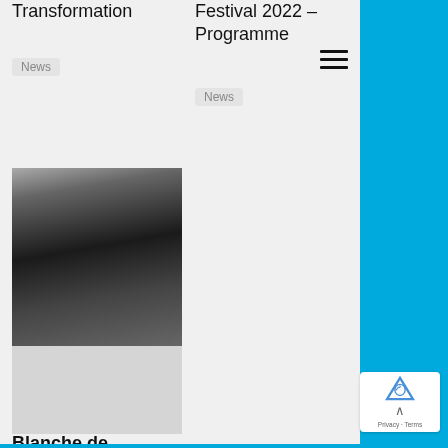Transformation
News
Festival 2022 – Programme
News
[Figure (photo): Black and white photo of a burlesque performer with decorative headpiece, artistic partial nudity]
Blanche de Moscou
2018 Burlesque Performers, News